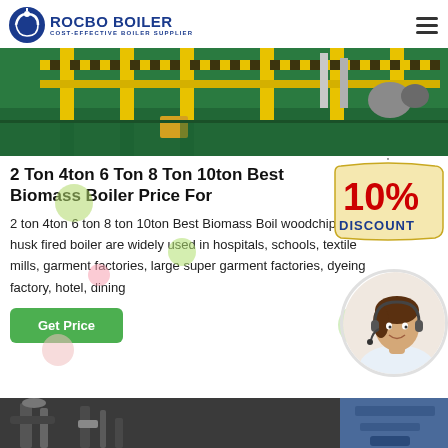ROCBO BOILER - COST-EFFECTIVE BOILER SUPPLIER
[Figure (photo): Industrial factory floor with yellow steel framework, machinery, hazard striping, and green reflective floor]
2 Ton 4ton 6 Ton 8 Ton 10ton Best Biomass Boiler Price For
2 ton 4ton 6 ton 8 ton 10ton Best Biomass Boiler woodchip rice husk fired boiler are widely used in hospitals, schools, textile mills, garment factories, large super garment factories, dyeing factory, hotel, dining
[Figure (infographic): 10% DISCOUNT badge in red and blue text on cream tag background]
[Figure (photo): Customer service agent woman with headset smiling, circular crop]
Get Price
[Figure (photo): Bottom strip showing industrial boiler equipment]